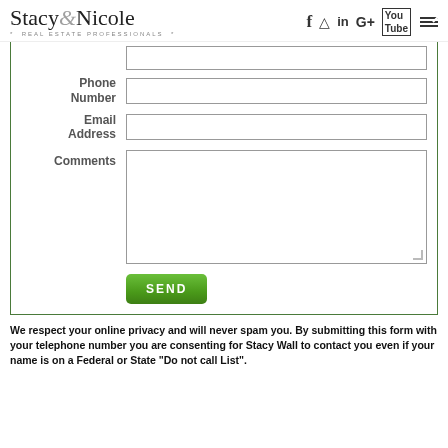Stacy & Nicole · REAL ESTATE PROFESSIONALS · [social icons: f, instagram, in, G+, YouTube, menu]
[Figure (screenshot): Contact form with fields for Phone Number, Email Address, Comments, and a green SEND button, inside a green-bordered box]
We respect your online privacy and will never spam you. By submitting this form with your telephone number you are consenting for Stacy Wall to contact you even if your name is on a Federal or State "Do not call List".